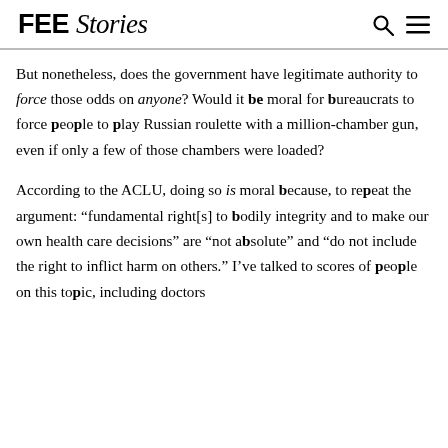FEE Stories
But nonetheless, does the government have legitimate authority to force those odds on anyone? Would it be moral for bureaucrats to force people to play Russian roulette with a million-chamber gun, even if only a few of those chambers were loaded?
According to the ACLU, doing so is moral because, to repeat the argument: “fundamental right[s] to bodily integrity and to make our own health care decisions” are “not absolute” and “do not include the right to inflict harm on others.” I’ve talked to scores of people on this topic, including doctors